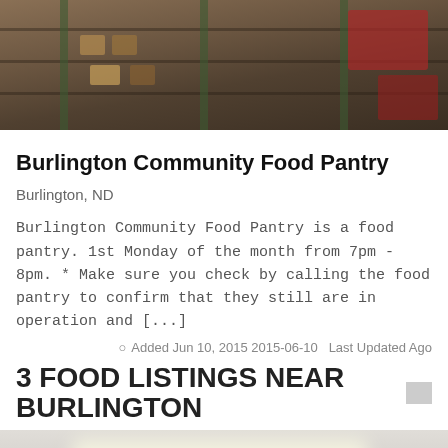[Figure (photo): Photo of a food pantry interior showing shelves stocked with canned goods and food items]
Burlington Community Food Pantry
Burlington, ND
Burlington Community Food Pantry is a food pantry. 1st Monday of the month from 7pm - 8pm. * Make sure you check by calling the food pantry to confirm that they still are in operation and [...]
Added Jun 10, 2015 2015-06-10   Last Updated Ago
3 FOOD LISTINGS NEAR BURLINGTON
[Figure (photo): Photo of a group of children and adults posing together in a food pantry room with shelves of food items in the background]